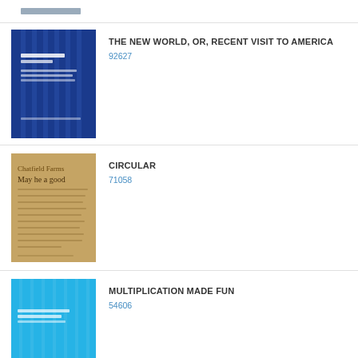THE NEW WORLD, OR, RECENT VISIT TO AMERICA
92627
CIRCULAR
71058
MULTIPLICATION MADE FUN
54606
LIMITED LIABILITY COMPANY HANDBOOK